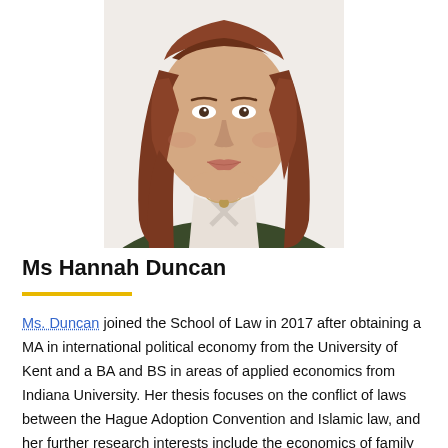[Figure (photo): Professional headshot of Ms Hannah Duncan, a woman with long auburn/red hair wearing a dark olive green blazer over a white top with a cross-strap neckline and a necklace, photographed against a white background.]
Ms Hannah Duncan
Ms. Duncan joined the School of Law in 2017 after obtaining a MA in international political economy from the University of Kent and a BA and BS in areas of applied economics from Indiana University. Her thesis focuses on the conflict of laws between the Hague Adoption Convention and Islamic law, and her further research interests include the economics of family building choices, the intersection of child and indigenous peoples' rights, and reproductive technology and medical ethics.